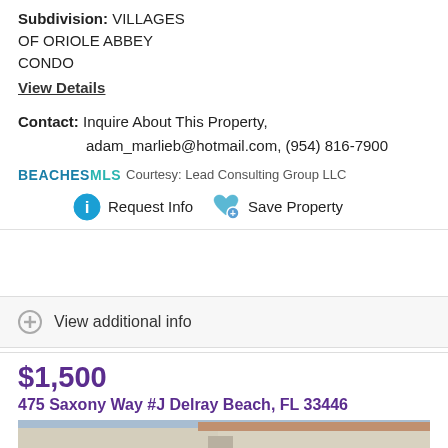Subdivision: VILLAGES OF ORIOLE ABBEY CONDO
View Details
Contact: Inquire About This Property, adam_marlieb@hotmail.com, (954) 816-7900
BEACHES MLS Courtesy: Lead Consulting Group LLC
Request Info  Save Property
View additional info
$1,500
475 Saxony Way #J Delray Beach, FL 33446
[Figure (photo): Exterior photo of a low-rise residential building complex with a tan/terracotta roof, showing a walkway between buildings, blue sky visible in the background.]